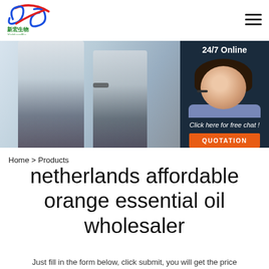[Figure (logo): XinHongBio company logo with stylized blue and red swirl graphic and Chinese characters 新宏生物 with XinHongBio text below]
[Figure (photo): Hero banner showing two blurred customer service representatives in headsets, with a 24/7 Online chat widget overlay on the right showing a smiling woman with headset, 'Click here for free chat!' text, and an orange QUOTATION button]
Home > Products
netherlands affordable orange essential oil wholesaler
Just fill in the form below, click submit, you will get the price